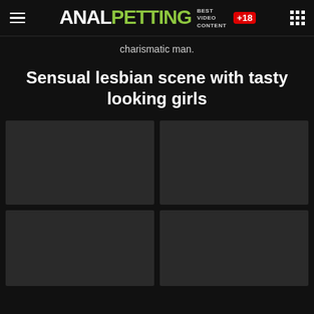ANALPETTING BEST VIDEO CONTENT +18
charismatic man.
Sensual lesbian scene with tasty looking girls
[Figure (photo): Thumbnail placeholder 1 (dark gray rectangle)]
[Figure (photo): Thumbnail placeholder 2 (dark gray rectangle)]
[Figure (photo): Thumbnail placeholder 3 (dark gray rectangle)]
[Figure (photo): Thumbnail placeholder 4 (dark gray rectangle)]